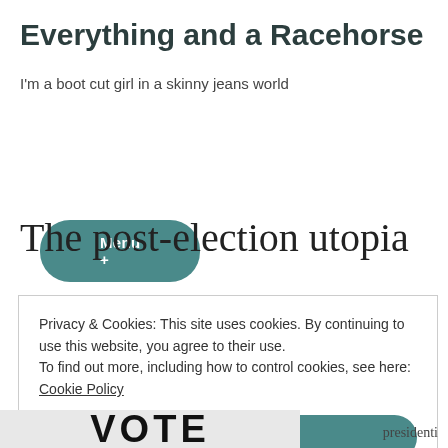Everything and a Racehorse
I'm a boot cut girl in a skinny jeans world
Menu +
The post-election utopia
Privacy & Cookies: This site uses cookies. By continuing to use this website, you agree to their use. To find out more, including how to control cookies, see here: Cookie Policy
Close and accept
[Figure (photo): Partial image showing large bold text 'VOTE' at the bottom of the page]
presidenti